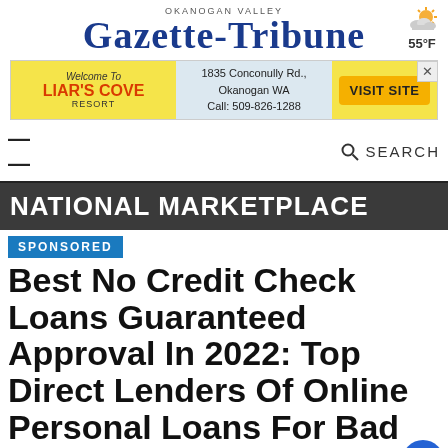OKANOGAN VALLEY
GAZETTE-TRIBUNE
[Figure (other): Weather icon showing partly cloudy sun, temperature 55°F]
[Figure (other): Advertisement banner for Liar's Cove Resort: Welcome To LIAR'S COVE RESORT, 1835 Conconully Rd., Okanogan WA, Call: 509-826-1288, VISIT SITE]
SEARCH
NATIONAL MARKETPLACE
SPONSORED
Best No Credit Check Loans Guaranteed Approval In 2022: Top Direct Lenders Of Online Personal Loans For Bad Credit